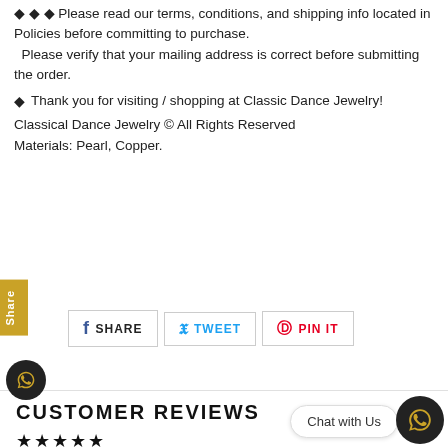Please read our terms, conditions, and shipping info located in Policies before committing to purchase. Please verify that your mailing address is correct before submitting the order.
Thank you for visiting / shopping at Classic Dance Jewelry!
Classical Dance Jewelry © All Rights Reserved
Materials: Pearl, Copper.
Share
SHARE   TWEET   PIN IT
CUSTOMER REVIEWS
★★★★★ Based on 2 reviews
Write a review
Chat with Us